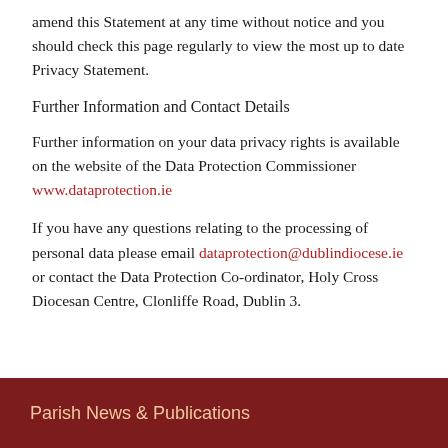amend this Statement at any time without notice and you should check this page regularly to view the most up to date Privacy Statement.
Further Information and Contact Details
Further information on your data privacy rights is available on the website of the Data Protection Commissioner www.dataprotection.ie
If you have any questions relating to the processing of personal data please email dataprotection@dublindiocese.ie or contact the Data Protection Co-ordinator, Holy Cross Diocesan Centre, Clonliffe Road, Dublin 3.
Parish News & Publications